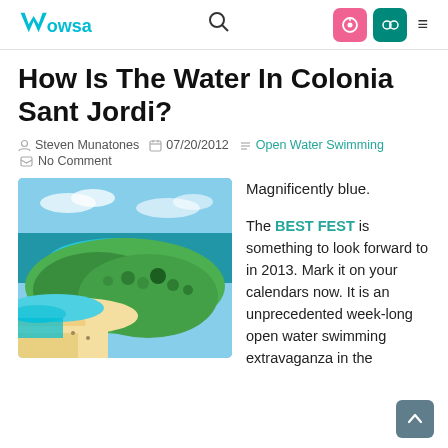Wowsa — How Is The Water In Colonia Sant Jordi?
How Is The Water In Colonia Sant Jordi?
Steven Munatones  07/20/2012  Open Water Swimming  No Comment
[Figure (photo): Aerial view of a coastal area with turquoise water, sandy beach, and green forested land.]
Magnificently blue.

The BEST FEST is something to look forward to in 2013. Mark it on your calendars now. It is an unprecedented week-long open water swimming extravaganza in the